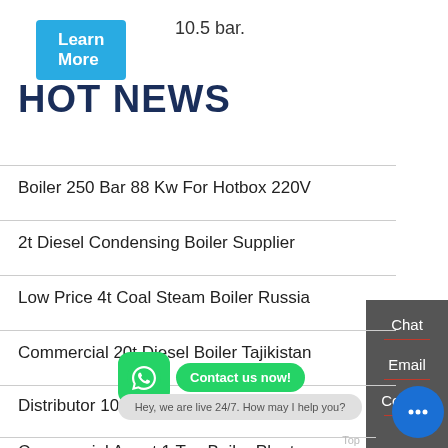[Figure (screenshot): Blue 'Learn More' button]
10.5 bar.
HOT NEWS
Boiler 250 Bar 88 Kw For Hotbox 220V
2t Diesel Condensing Boiler Supplier
Low Price 4t Coal Steam Boiler Russia
Commercial 20t Diesel Boiler Tajikistan
Distributor 10 Ton Biomass Steam Boiler
Commercial Agent 1 Ton Boiler Plant
21 mw heavy oil industrial boiler
1t Energy Saving Steam Boiler Azerbaijan
[Figure (screenshot): WhatsApp contact widget with 'Contact us now!' button and chat tooltip 'Hey, we are live 24/7. How may I help you?']